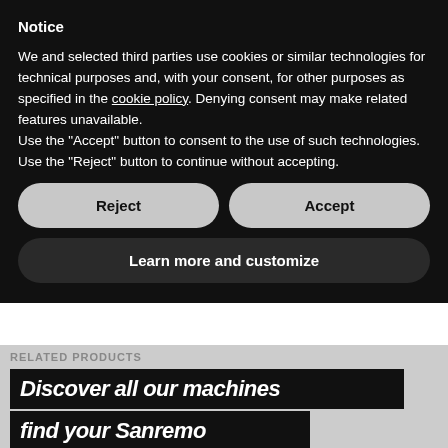Notice
We and selected third parties use cookies or similar technologies for technical purposes and, with your consent, for other purposes as specified in the cookie policy. Denying consent may make related features unavailable.
Use the “Accept” button to consent to the use of such technologies. Use the “Reject” button to continue without accepting.
Reject | Accept
Learn more and customize
RELATED PRODUCTS
Discover all our machines
find your Sanremo